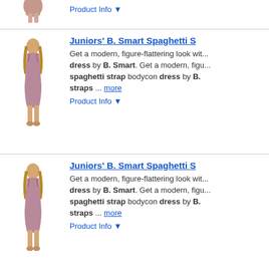[Figure (photo): Partial product image of a dress at top of page]
Product Info ▼
Juniors' B. Smart Spaghetti S...
Get a modern, figure-flattering look wit... dress by B. Smart. Get a modern, figu... spaghetti strap bodycon dress by B. straps ... more
Product Info ▼
Juniors' B. Smart Spaghetti S...
Get a modern, figure-flattering look wit... dress by B. Smart. Get a modern, figu... spaghetti strap bodycon dress by B. straps ... more
Product Info ▼
Juniors' B. Smart V-Neck Spa...
A sweet look that's always in style. You... B. Smart floral print dress. A sweet lo... classic charm of this juniors' B. Smar...
Product Info ▼
Juniors' B. Smart V-Neck Spa...
A sweet look that's always in style. You... B. Smart floral print dress. A sweet lo... classic charm of this juniors' B. Smar...
Product Info ▼